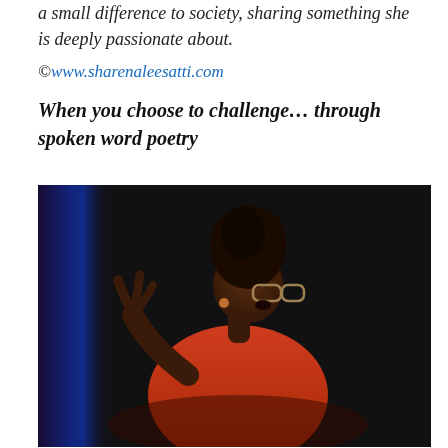a small difference to society, sharing something she is deeply passionate about.
©www.sharenaleesatti.com
When you choose to challenge… through spoken word poetry
[Figure (photo): A Black woman with natural hair in an updo, wearing glasses and a red/coral floral dress, performing spoken word poetry on a stage with dark background and blue curtain lighting. She is gesturing with her hand raised.]